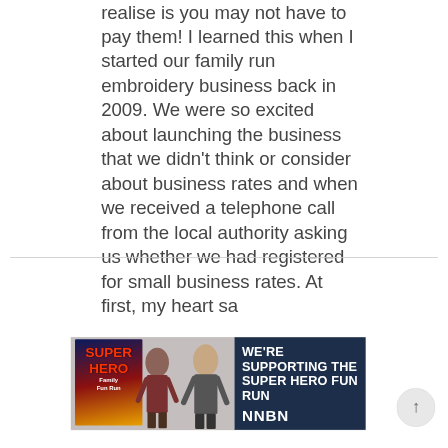realise is you may not have to pay them! I learned this when I started our family run embroidery business back in 2009. We were so excited about launching the business that we didn't think or consider about business rates and when we received a telephone call from the local authority asking us whether we had registered for small business rates. At first, my heart sa
[Figure (photo): Advertisement showing two people (a woman and a man) standing in front of a Super Hero Family Fun Run banner/poster. The right side of the ad has a dark navy blue panel with white bold text reading 'WE'RE SUPPORTING THE SUPER HERO FUN RUN' and 'NNBN' below.]